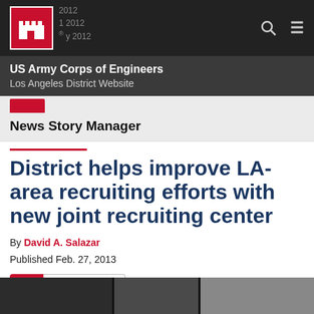US Army Corps of Engineers Los Angeles District Website
News Story Manager
District helps improve LA-area recruiting efforts with new joint recruiting center
By David A. Salazar
Published Feb. 27, 2013